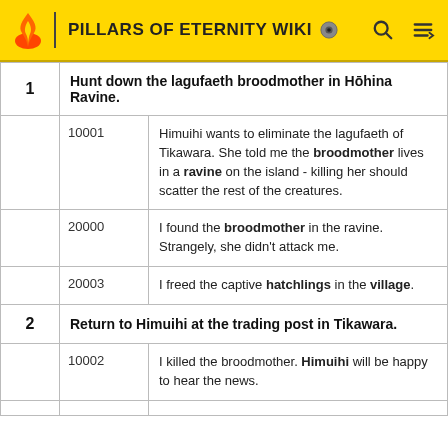PILLARS OF ETERNITY WIKI
| Step | Description |
| --- | --- |
| 1 | Hunt down the lagufaeth broodmother in Hōhina Ravine. |
| 10001 | Himuihi wants to eliminate the lagufaeth of Tikawara. She told me the broodmother lives in a ravine on the island - killing her should scatter the rest of the creatures. |
| 20000 | I found the broodmother in the ravine. Strangely, she didn't attack me. |
| 20003 | I freed the captive hatchlings in the village. |
| 2 | Return to Himuihi at the trading post in Tikawara. |
| 10002 | I killed the broodmother. Himuihi will be happy to hear the news. |